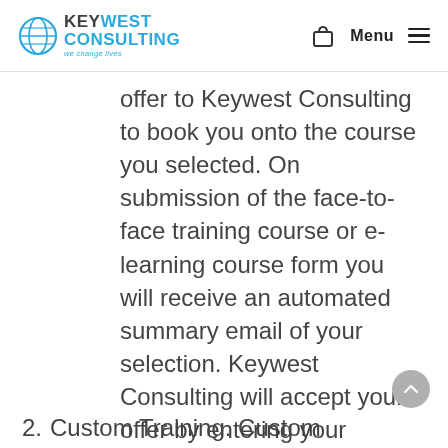Keywest Consulting — Menu
offer to Keywest Consulting to book you onto the course you selected. On submission of the face-to-face training course or e-learning course form you will receive an automated summary email of your selection. Keywest Consulting will accept your offer by entering your booking onto the Keywest Consulting system and sending you an email confirming that you have been booked together with information on starting your learning.
2. Custom Training. Custom